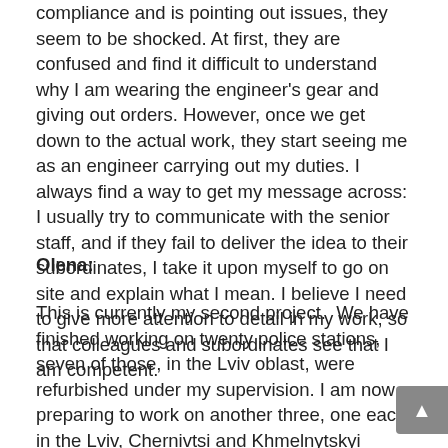compliance and is pointing out issues, they seem to be shocked. At first, they are confused and find it difficult to understand why I am wearing the engineer's gear and giving out orders. However, once we get down to the actual work, they start seeing me as an engineer carrying out my duties. I always find a way to get my message across: I usually try to communicate with the senior staff, and if they fail to deliver the idea to their subordinates, I take it upon myself to go on site and explain what I mean. I believe I need to give more attention to detail in my work, so that colleagues and subordinates see that I am competent.
Olena:
This is currently my second project.  We have finished working on twenty police stations, seven of those, in the Lviv oblast, were refurbished under my supervision. I am now preparing to work on another three, one each in the Lviv, Chernivtsi and Khmelnytskyi oblasts.